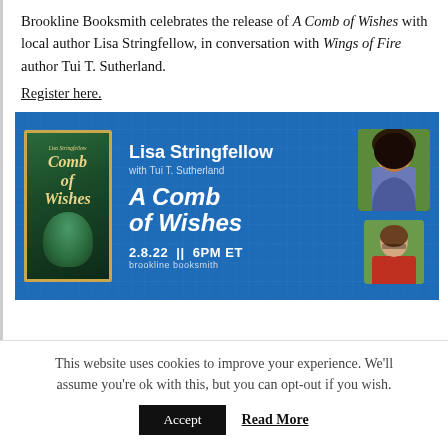Brookline Booksmith celebrates the release of A Comb of Wishes with local author Lisa Stringfellow, in conversation with Wings of Fire author Tui T. Sutherland.
Register here.
[Figure (illustration): Event banner for Lisa Stringfellow book launch at Brookline Booksmith. Blue background with book cover of 'A Comb of Wishes', author photos, title text, date 2.8.22 || 6PM ET.]
This website uses cookies to improve your experience. We'll assume you're ok with this, but you can opt-out if you wish.
Accept   Read More